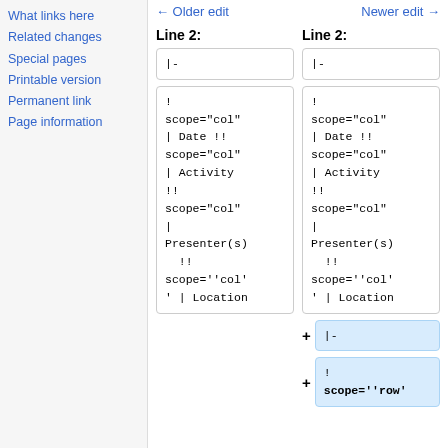What links here
Related changes
Special pages
Printable version
Permanent link
Page information
← Older edit
Newer edit →
Line 2:
Line 2:
|-
|-
!
scope="col"
| Date !!
scope="col"
| Activity
!!
scope="col"
|
Presenter(s)
  !!
scope=''col'
' | Location
!
scope="col"
| Date !!
scope="col"
| Activity
!!
scope="col"
|
Presenter(s)
  !!
scope=''col'
' | Location
+ |-
!
scope=''row'